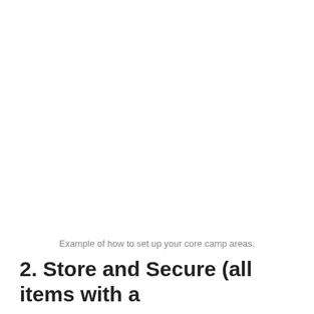Example of how to set up your core camp areas.
2. Store and Secure (all items with a